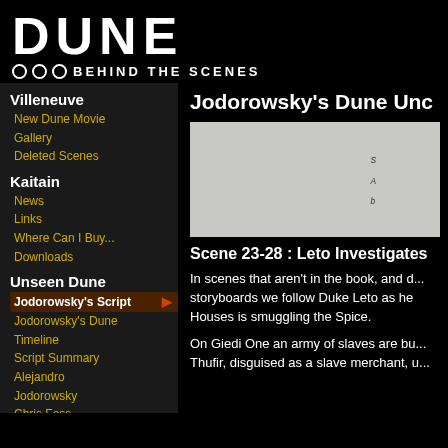DUNE BEHIND THE SCENES
Villeneuve
New Dune Movie
Gallery
Deleted Scenes
Kaitain
News
Links
Where Can I Buy...
Downloads
Unseen Dune
Jodorowsky's Script ▶
Jodorowsky's Dune Timeline
Script Summary
Alejandro Jodorowsky
Chris Foss
HR Giger
Moebius
Dan O'Bannon
Jack / Borg
Jodorowsky's Dune Unc...
[Figure (photo): Grayish/off-white storyboard or still image partially visible]
Scene 23-28 : Leto Investigates
In scenes that aren't in the book, and do... storyboards we follow Duke Leto as he... Houses is smuggling the Spice.
On Giedi One an army of slaves are bu... Thufir, disguised as a slave merchant, u...